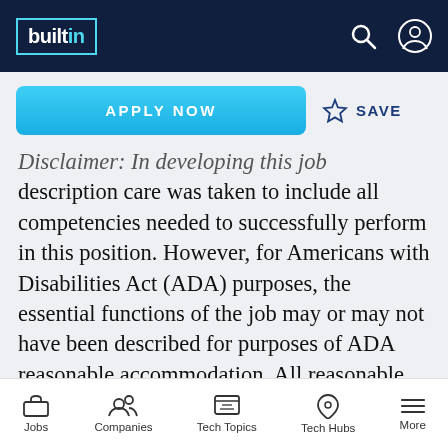builtin — navigation header with search and account icons
APPLY NOW
SAVE
Disclaimer: In developing this job description care was taken to include all competencies needed to successfully perform in this position. However, for Americans with Disabilities Act (ADA) purposes, the essential functions of the job may or may not have been described for purposes of ADA reasonable accommodation. All reasonable accommodation requests will be reviewed and evaluated on a case-by-case basis.
Jobs | Companies | Tech Topics | Tech Hubs | More